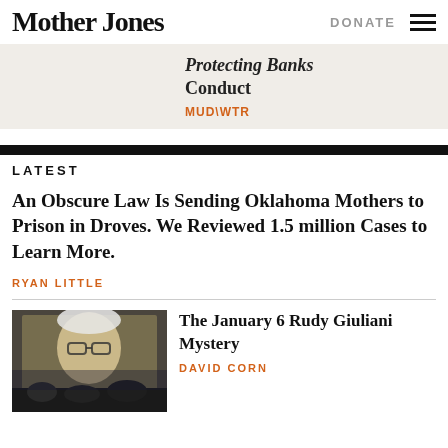Mother Jones
DONATE
Protecting Banks Conduct
MUD\WTR
LATEST
An Obscure Law Is Sending Oklahoma Mothers to Prison in Droves. We Reviewed 1.5 million Cases to Learn More.
RYAN LITTLE
[Figure (photo): Photo of an elderly man with glasses shown on a large screen display, with audience visible in the foreground]
The January 6 Rudy Giuliani Mystery
DAVID CORN